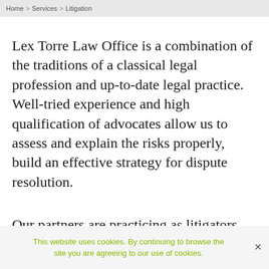Home > Services > Litigation
Lex Torre Law Office is a combination of the traditions of a classical legal profession and up-to-date legal practice. Well-tried experience and high qualification of advocates allow us to assess and explain the risks properly, build an effective strategy for dispute resolution.
Our partners are practicing as litigators
This website uses cookies. By continuing to browse the site you are agreeing to our use of cookies.